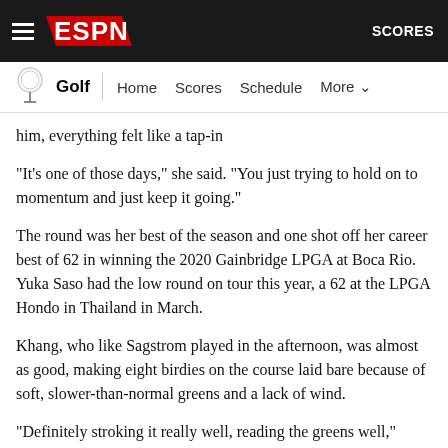ESPN Golf | Home Scores Schedule More | SCORES
him, everything felt like a tap-in
"It's one of those days," she said. "You just trying to hold on to momentum and just keep it going."
The round was her best of the season and one shot off her career best of 62 in winning the 2020 Gainbridge LPGA at Boca Rio. Yuka Saso had the low round on tour this year, a 62 at the LPGA Hondo in Thailand in March.
Khang, who like Sagstrom played in the afternoon, was almost as good, making eight birdies on the course laid bare because of soft, slower-than-normal greens and a lack of wind.
"Definitely stroking it really well, reading the greens well,"